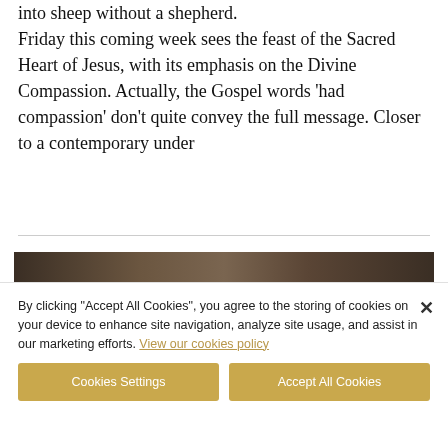into sheep without a shepherd. Friday this coming week sees the feast of the Sacred Heart of Jesus, with its emphasis on the Divine Compassion. Actually, the Gospel words ‘had compassion’ don’t quite convey the full message. Closer to a contemporary under
[Figure (photo): Dark photograph showing two figures, appearing to be a religious or artistic image with dark brown tones]
By clicking “Accept All Cookies”, you agree to the storing of cookies on your device to enhance site navigation, analyze site usage, and assist in our marketing efforts. View our cookies policy
Cookies Settings | Accept All Cookies